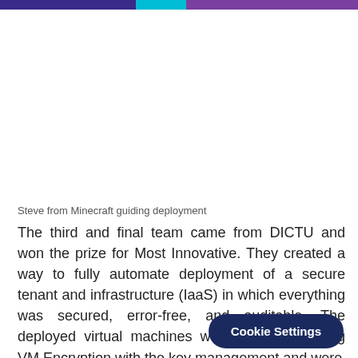[Figure (photo): Image area showing Steve from Minecraft guiding deployment (image not visible in this crop)]
Steve from Minecraft guiding deployment
The third and final team came from DICTU and won the prize for Most Innovative. They created a way to fully automate deployment of a secure tenant and infrastructure (IaaS) in which everything was secured, error-free, and auditable. The deployed virtual machines were encrypted using VM Encryp... the key management and were